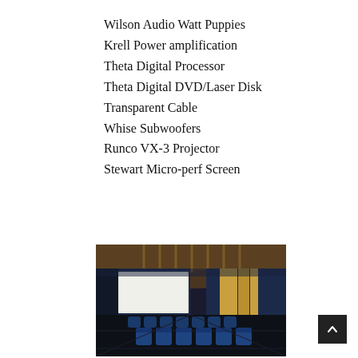Wilson Audio Watt Puppies
Krell Power amplification
Theta Digital Processor
Theta Digital DVD/Laser Disk
Transparent Cable
Whise Subwoofers
Runco VX-3 Projector
Stewart Micro-perf Screen
[Figure (photo): Interior of a luxury home theater with blue velvet seats, a projection screen, wood paneling, and curtains in a dark room.]